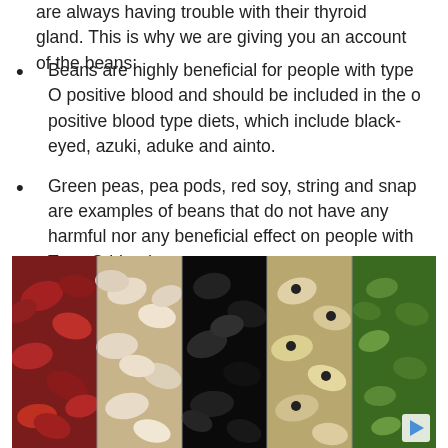are always having trouble with their thyroid gland. This is why we are giving you an account of the beans:
Beans are highly beneficial for people with type O positive blood and should be included in the o positive blood type diets, which include black-eyed, azuki, aduke and ainto.
Green peas, pea pods, red soy, string and snap are examples of beans that do not have any harmful nor any beneficial effect on people with Type O blood.
The beans that are harmful for type O people and must be avoided at all costs are green and red Lentils, tamarind, kidney beans and copper Beans.
[Figure (photo): A photo showing five varieties of beans arranged side by side: red kidney beans, white/beige beans, black beans, black-eyed peas, and green mung beans.]